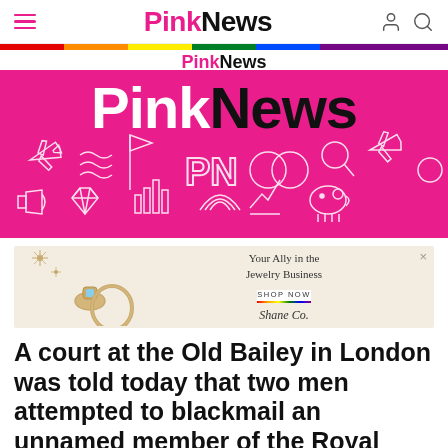PinkNews
[Figure (illustration): PinkNews pink banner with logo and illustrated white icons (airplane, flag, PN letters, rings, magnifier, megaphone, diamond, rainbow, piggy bank, lightning bolt)]
[Figure (photo): Shane Co jewelry advertisement showing gold earrings and ring on beige background with text 'Your Ally in the Jewelry Business', 'SHOP NOW', 'Shane Co']
A court at the Old Bailey in London was told today that two men attempted to blackmail an unnamed member of the Royal